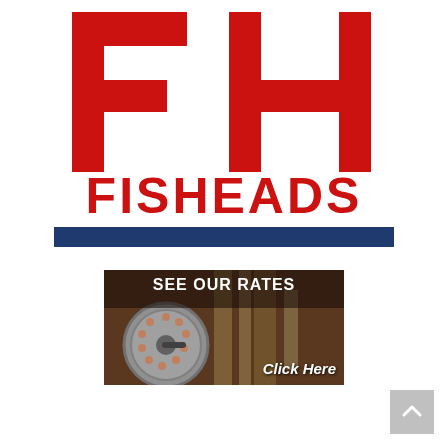[Figure (logo): Fisheads logo with large red FH letters and FISHEADS text below, with a dark blue horizontal bar underneath]
[Figure (photo): Advertisement banner with dark background showing a fishing reel and rod/bamboo. Text reads SEE OUR RATES at top and Click Here at bottom right.]
[Figure (other): Gray scroll-to-top button with upward arrow chevron in bottom right corner]